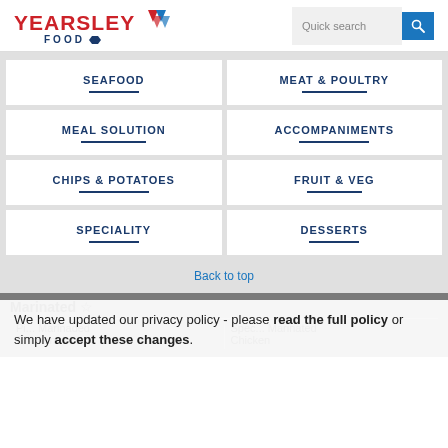YEARSLEY FOOD | Quick search
SEAFOOD
MEAT & POULTRY
MEAL SOLUTION
ACCOMPANIMENTS
CHIPS & POTATOES
FRUIT & VEG
SPECIALITY
DESSERTS
Back to top
Marinated ☆
Pi... Marinaded Chicken | Spec... Marinated Chicken
We have updated our privacy policy - please read the full policy or simply accept these changes.